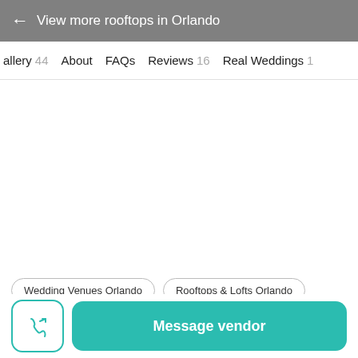← View more rooftops in Orlando
Gallery 44   About   FAQs   Reviews 16   Real Weddings 1
Wedding Venues Orlando   Rooftops & Lofts Orlando
Message vendor